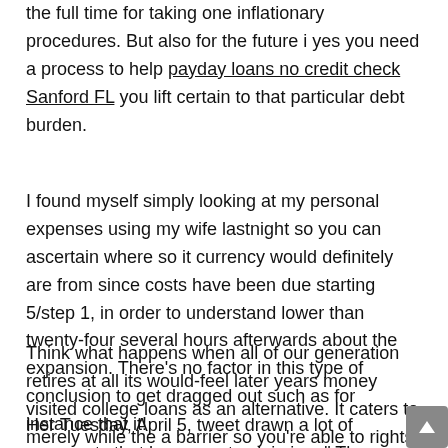the full time for taking one inflationary procedures. But also for the future i yes you need a process to help payday loans no credit check Sanford FL you lift certain to that particular debt burden.
I found myself simply looking at my personal expenses using my wife lastnight so you can ascertain where so it currency would definitely are from since costs have been due starting 5/step 1, in order to understand lower than twenty-four several hours afterwards about the expansion. There's no factor in this type of conclusion to get dragged out such as for instance that it!
Think what happens when all of our generation retires at all its would-feel later years money visited college loans as an alternative. It caters to merely while the a barrier so you're able to rights we deserve
Her Tuesday, April 5, tweet drawn a lot of comments that have one to claiming, " They has actually debtors away from to find